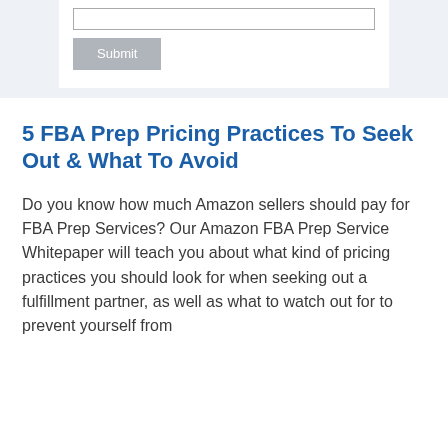[Figure (screenshot): Web form with an input field and a grey Submit button on a light blue-grey background]
5 FBA Prep Pricing Practices To Seek Out & What To Avoid
Do you know how much Amazon sellers should pay for FBA Prep Services? Our Amazon FBA Prep Service Whitepaper will teach you about what kind of pricing practices you should look for when seeking out a fulfillment partner, as well as what to watch out for to prevent yourself from